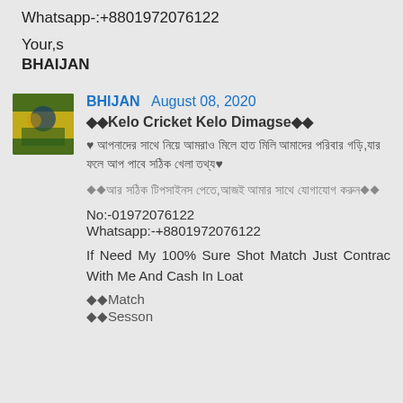Whatsapp-:+8801972076122
Your,s
BHAIJAN
BHIJAN  August 08, 2020
◆◆Kelo Cricket Kelo Dimagse◆◆
♥ [Bengali text line 1]
[Bengali text line 2]♥
◆◆[Bengali text]◆◆
No:-01972076122
Whatsapp:-+8801972076122
If Need My 100% Sure Shot Match Just Contrac With Me And Cash In Loat
◆◆Match
◆◆Sesson